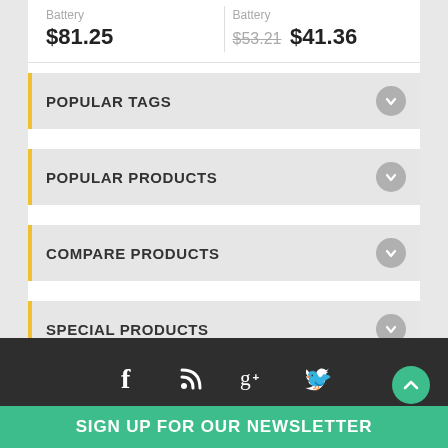Battery $81.25
Battery $53.21 $41.36
POPULAR TAGS
POPULAR PRODUCTS
COMPARE PRODUCTS
SPECIAL PRODUCTS
[Figure (infographic): Social media icons: Facebook, RSS, Google+, Twitter on dark background]
SIGN UP FOR OUR NEWSLETTER